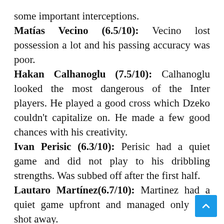some important interceptions. Matías Vecino (6.5/10): Vecino lost possession a lot and his passing accuracy was poor. Hakan Calhanoglu (7.5/10): Calhanoglu looked the most dangerous of the Inter players. He played a good cross which Dzeko couldn't capitalize on. He made a few good chances with his creativity. Ivan Perisic (6.3/10): Perisic had a quiet game and did not play to his dribbling strengths. Was subbed off after the first half. Lautaro Martínez(6.7/10): Martinez had a quiet game upfront and managed only one shot away.